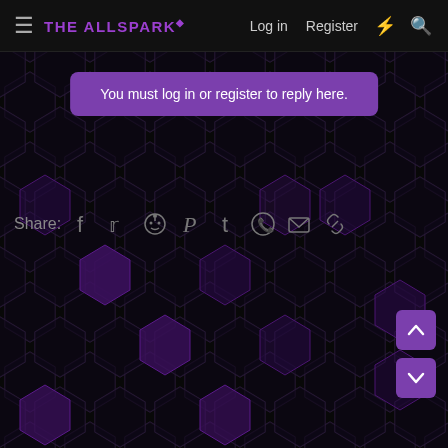THE ALLSPARK | Log in | Register
You must log in or register to reply here.
Share: (social icons: Facebook, Twitter, Reddit, Pinterest, Tumblr, WhatsApp, Email, Link)
[Figure (other): Dark hexagonal honeycomb pattern background with purple highlights]